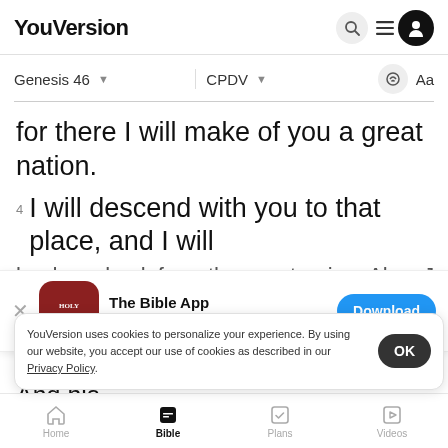YouVersion
Genesis 46   CPDV
for there I will make of you a great nation.
4  I will descend with you to that place, and I will
lead you back from there, returning. Also, Joseph
[Figure (screenshot): The Bible App download banner with Holy Bible app icon, 5 stars rating 7.9M reviews, and Download button]
then Jacob rose up from the well of the
And his
wives, i
YouVersion uses cookies to personalize your experience. By using our website, you accept our use of cookies as described in our Privacy Policy.
Home   Bible   Plans   Videos